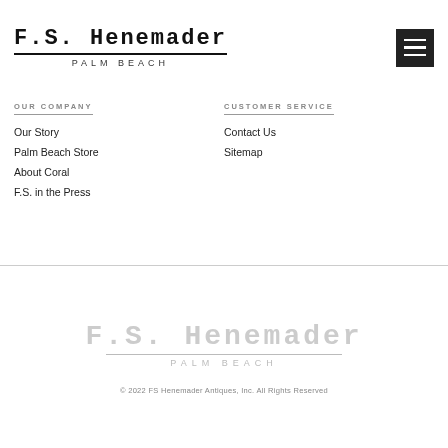F.S. Henemader PALM BEACH
OUR COMPANY
Our Story
Palm Beach Store
About Coral
F.S. in the Press
CUSTOMER SERVICE
Contact Us
Sitemap
[Figure (logo): F.S. Henemader Palm Beach logo in light gray]
© 2022 FS Henemader Antiques, Inc. All Rights Reserved